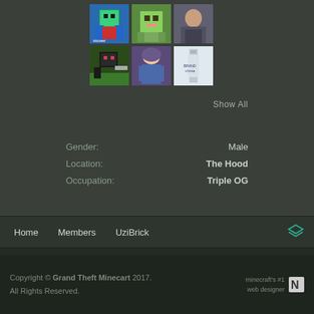[Figure (photo): Grid of 6 friend profile thumbnails - row 1: Minecraft character (iskoreer), pixel art face, person on motorcycle; row 2: Minecraft character with gun, anime girl with helmet, vodka bottle]
Show All
Gender: Male
Location: The Hood
Occupation: Triple OG
Home   Members   UziBrick
Copyright © Grand Theft Minecart 2017. All Rights Reserved. minecraft's #1 web designer